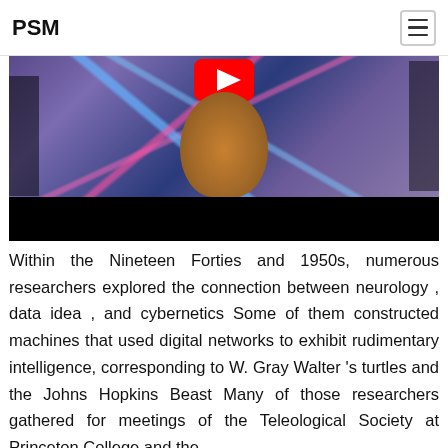PSM
[Figure (screenshot): Screenshot of a web page showing a YouTube video thumbnail with a cat sitting in front of a laser light background with a red YouTube play button overlay, followed by a black bar at the bottom.]
Within the Nineteen Forties and 1950s, numerous researchers explored the connection between neurology , data idea , and cybernetics Some of them constructed machines that used digital networks to exhibit rudimentary intelligence, corresponding to W. Gray Walter 's turtles and the Johns Hopkins Beast Many of those researchers gathered for meetings of the Teleological Society at Princeton College and the